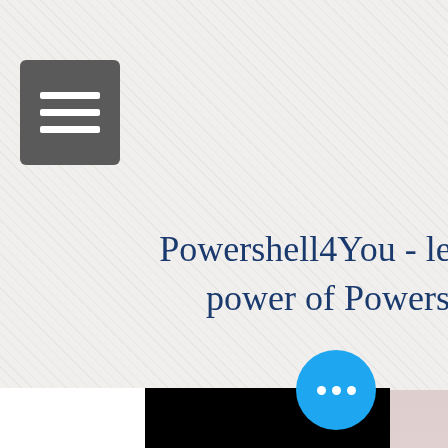[Figure (screenshot): Screenshot of a website navigation header. Shows a hamburger menu icon (three horizontal bars) on a dark grey rounded square button, and a site logo/title area with light textured background. A black content area occupies the lower two-thirds of the image. A blue circular chat/more-options button with three white dots is visible in the lower right. A narrow blurred pinkish-beige panel runs along the right edge.]
Powershell4You - learn the power of Powershell